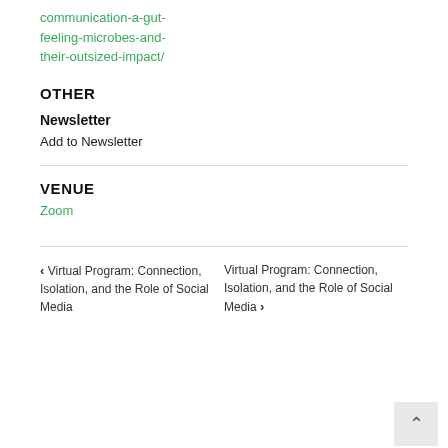communication-a-gut-feeling-microbes-and-their-outsized-impact/
OTHER
Newsletter
Add to Newsletter
VENUE
Zoom
‹ Virtual Program: Connection, Isolation, and the Role of Social Media
Virtual Program: Connection, Isolation, and the Role of Social Media ›